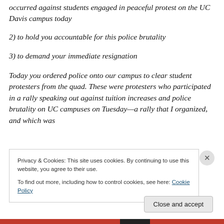occurred against students engaged in peaceful protest on the UC Davis campus today
2) to hold you accountable for this police brutality
3) to demand your immediate resignation
Today you ordered police onto our campus to clear student protesters from the quad. These were protesters who participated in a rally speaking out against tuition increases and police brutality on UC campuses on Tuesday—a rally that I organized, and which was
Privacy & Cookies: This site uses cookies. By continuing to use this website, you agree to their use.
To find out more, including how to control cookies, see here: Cookie Policy